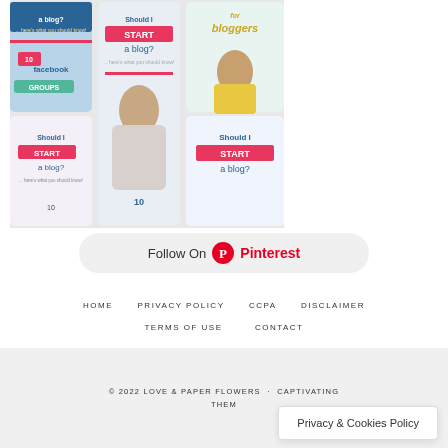[Figure (screenshot): Pinterest board preview showing multiple blog-related pin images including 'Should I START a blog?', '10 Facebook GROUPS', and blogging tips for bloggers]
Follow On Pinterest
HOME
PRIVACY POLICY
CCPA
DISCLAIMER
TERMS OF USE
CONTACT
© 2022 LOVE & PAPER FLOWERS · CAPTIVATING THEME
Privacy & Cookies Policy